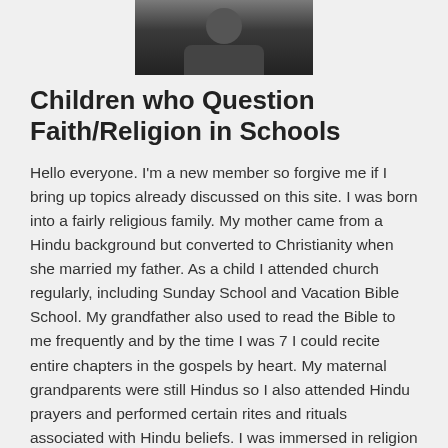[Figure (photo): A dark photograph of a person, cropped at top of page, centered.]
Children who Question Faith/Religion in Schools
Hello everyone. I'm a new member so forgive me if I bring up topics already discussed on this site. I was born into a fairly religious family. My mother came from a Hindu background but converted to Christianity when she married my father. As a child I attended church regularly, including Sunday School and Vacation Bible School. My grandfather also used to read the Bible to me frequently and by the time I was 7 I could recite entire chapters in the gospels by heart. My maternal grandparents were still Hindus so I also attended Hindu prayers and performed certain rites and rituals associated with Hindu beliefs. I was immersed in religion at a very young age but I never really understood it. I used to ask so many questions, one of which was, "Where did god come from?" That was the main question I asked over and over to everyone I met. To